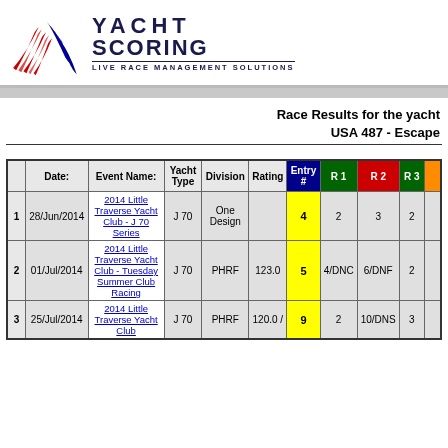[Figure (logo): YachtScoring logo with red and blue sail stripes graphic and text YACHT SCORING LIVE RACE MANAGEMENT SOLUTIONS]
Race Results for the yacht USA 487 - Escape
|  | Date: | Event Name: | Yacht Type | Division | Rating | Entry # | R 1 | R 2 | R 3 | R ... |
| --- | --- | --- | --- | --- | --- | --- | --- | --- | --- | --- |
| 1 | 28/Jun/2014 | 2014 Little Traverse Yacht Club - J 70 Series | J 70 | One Design |  | 4 | 2 | 3 | 2 |  |
| 2 | 01/Jul/2014 | 2014 Little Traverse Yacht Club - Tuesday Summer Club Racing | J 70 | PHRF | 123.0 | 5 | 4/DNC | 6/DNF | 2 |  |
| 3 | 25/Jul/2014 | 2014 Little Traverse Yacht Club | J 70 | PHRF | 120.0 / | 9 | 2 | 10/DNS | 3 |  |